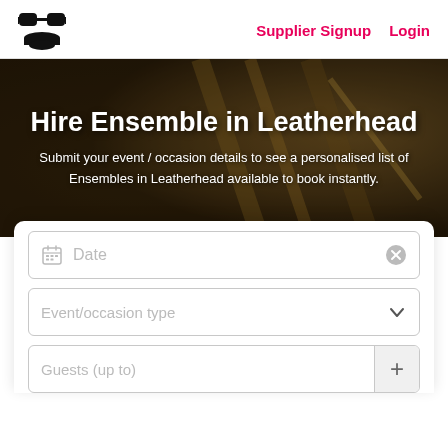Supplier Signup  Login
[Figure (screenshot): Website hero section with background photo of musician playing an instrument. Overlaid text reads: Hire Ensemble in Leatherhead. Submit your event / occasion details to see a personalised list of Ensembles in Leatherhead available to book instantly.]
Hire Ensemble in Leatherhead
Submit your event / occasion details to see a personalised list of Ensembles in Leatherhead available to book instantly.
Date
Event/occasion type
Guests (up to)